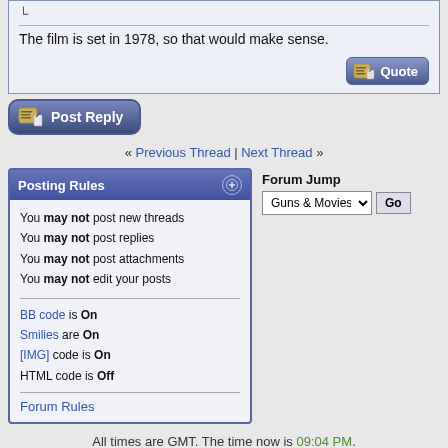The film is set in 1978, so that would make sense.
[Figure (other): Post Reply button with pencil icon]
« Previous Thread | Next Thread »
Posting Rules
You may not post new threads
You may not post replies
You may not post attachments
You may not edit your posts
BB code is On
Smilies are On
[IMG] code is On
HTML code is Off
Forum Rules
Forum Jump
Guns & Movies  Go
All times are GMT. The time now is 09:04 PM.
Contact Us - IMFDB Homepage - Archive - Top
Powered by vBulletin® Version 3.8.0
Copyright ©2000 - 2022, Jelsoft Enterprises Ltd.